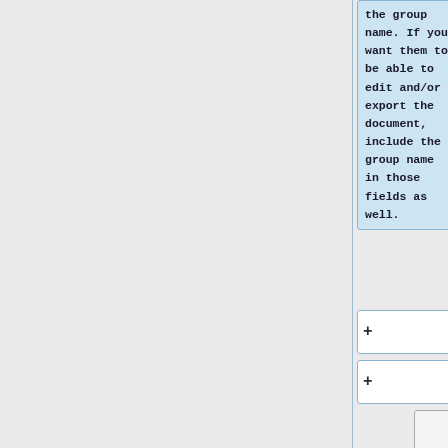the group name. If you want them to be able to edit and/or export the document, include the group name in those fields as well.
+
+
==The storage.xml File==
==The storage.xml File==